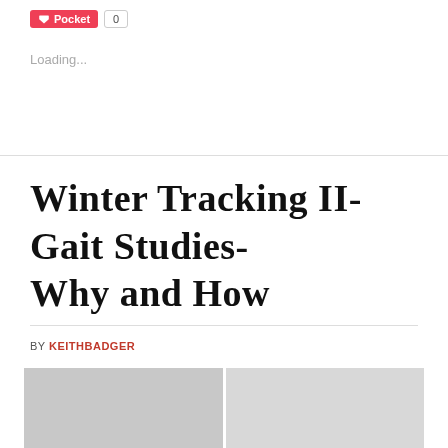Pocket 0
Loading...
Winter Tracking II- Gait Studies- Why and How
BY KEITHBADGER
[Figure (photo): Two-panel winter scene photograph showing animal tracks in snow with bare branches, split vertically]